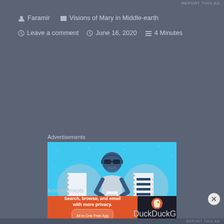REPORT THIS AD
Faramir   Visions of Mary in Middle-earth
Leave a comment   June 16, 2020   4 Minutes
Advertisements
[Figure (illustration): Cartoon illustration of a person wearing sunglasses holding a phone, flanked by two circles each containing a notebook, on a light blue background with sparkle decorations]
Advertisements
[Figure (screenshot): DuckDuckGo advertisement banner: orange background with text 'Search, browse, and email with more privacy. All in One Free App' and DuckDuckGo logo on dark right panel]
REPORT THIS AD